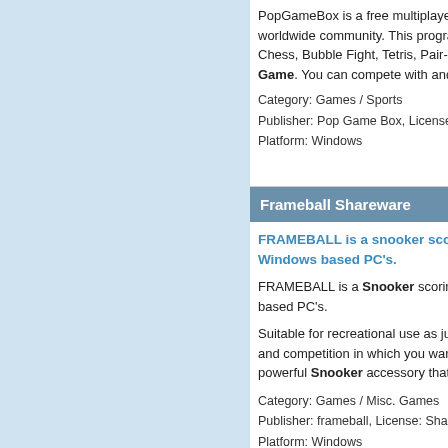PopGameBox is a free multiplayer online game for worldwide community. This program includes games like Chess, Bubble Fight, Tetris, Pair-up and Pop Ball Game. You can compete with and ch...
Category: Games / Sports
Publisher: Pop Game Box, License: Fre...
Platform: Windows
Frameball Shareware
FRAMEBALL is a snooker scoring... Windows based PC's.
FRAMEBALL is a Snooker scoring a... based PC's.
Suitable for recreational use as just a... and competition in which you want to... powerful Snooker accessory that ca...
Category: Games / Misc. Games
Publisher: frameball, License: Sharewa...
Platform: Windows
Arcadetribe Pool 2D
It is a realistic, multiplayer online p... can play pool, snooker, and other... challenge others or organized t...